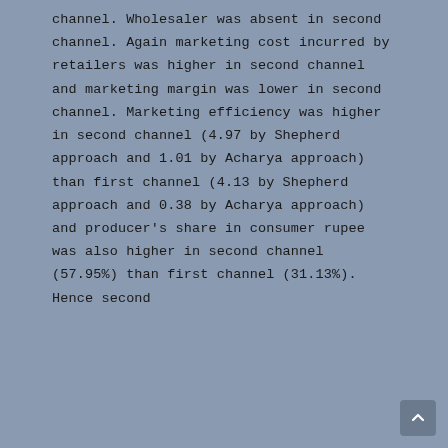channel. Wholesaler was absent in second channel. Again marketing cost incurred by retailers was higher in second channel and marketing margin was lower in second channel. Marketing efficiency was higher in second channel (4.97 by Shepherd approach and 1.01 by Acharya approach) than first channel (4.13 by Shepherd approach and 0.38 by Acharya approach) and producer's share in consumer rupee was also higher in second channel (57.95%) than first channel (31.13%). Hence second